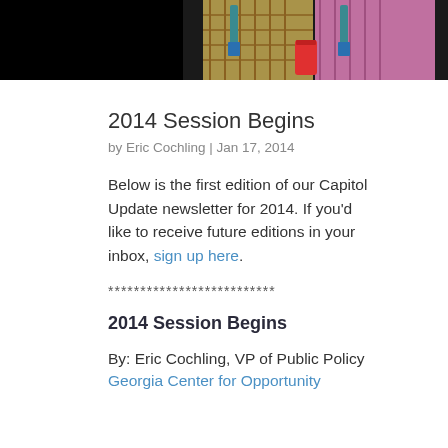[Figure (photo): Partial photo of people at an event, cropped at top, with dark background on sides]
2014 Session Begins
by Eric Cochling | Jan 17, 2014
Below is the first edition of our Capitol Update newsletter for 2014. If you'd like to receive future editions in your inbox, sign up here.
**************************
2014 Session Begins
By: Eric Cochling, VP of Public Policy
Georgia Center for Opportunity